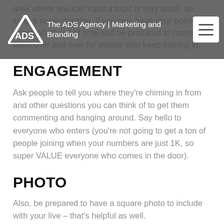The ADS Agency | Marketing and Branding
area where you can input a topic is very small, so keep it super concise. If you can, have your pointers prepared ahead of time and be prepared to repeat them over and over for people who keep coming in.
ENGAGEMENT
Ask people to tell you where they're chiming in from and other questions you can think of to get them commenting and hanging around. Say hello to everyone who enters (you're not going to get a ton of people joining when your numbers are just 1K, so super VALUE everyone who comes in the door).
PHOTO
Also, be prepared to have a square photo to include with your live – that's helpful as well.
LENGTH